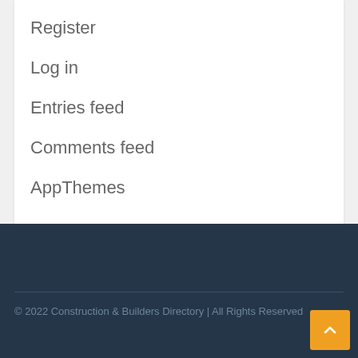Register
Log in
Entries feed
Comments feed
AppThemes
© 2022 Construction & Builders Directory | All Rights Reserved